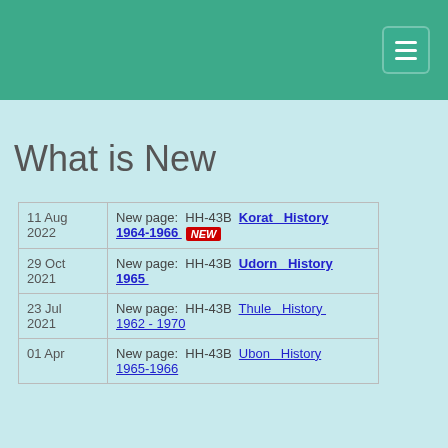What is New
| Date | Description |
| --- | --- |
| 11 Aug 2022 | New page:  HH-43B  Korat  History 1964-1966  NEW |
| 29 Oct 2021 | New page:  HH-43B  Udorn  History 1965 |
| 23 Jul 2021 | New page:  HH-43B  Thule  History 1962 - 1970 |
| 01 Apr | New page:  HH-43B  Ubon  History 1965-1966 |